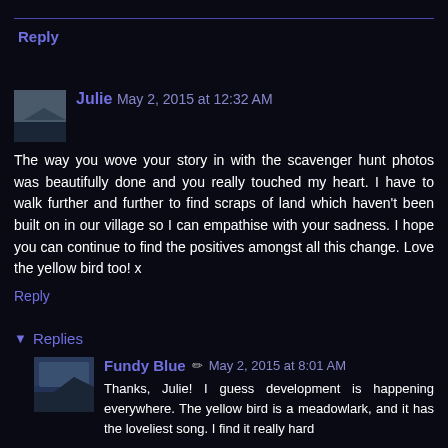Reply
Julie  May 2, 2015 at 12:32 AM
The way you wove your story in with the scavenger hunt photos was beautifully done and you really touched my heart. I have to walk further and further to find scraps of land which haven't been built on in our village so I can empathise with your sadness. I hope you can continue to find the positives amongst all this change. Love the yellow bird too! x
Reply
Replies
[Figure (photo): Avatar photo of Julie - landscape/outdoor scene]
Fundy Blue  ✏  May 2, 2015 at 8:01 AM
[Figure (photo): Avatar photo of Fundy Blue - coastal/water scene]
Thanks, Julie! I guess development is happening everywhere. The yellow bird is a meadowlark, and it has the loveliest song. I find it really hard